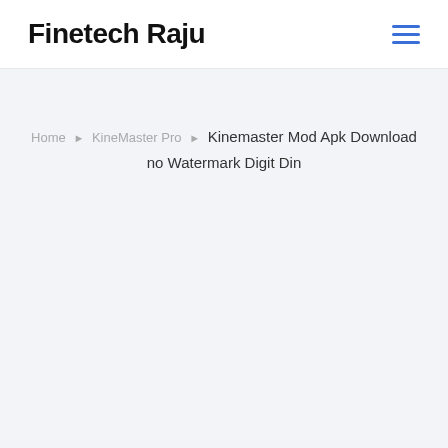Finetech Raju
Home ▶ KineMaster Pro ▶ Kinemaster Mod Apk Download no Watermark Digit Din